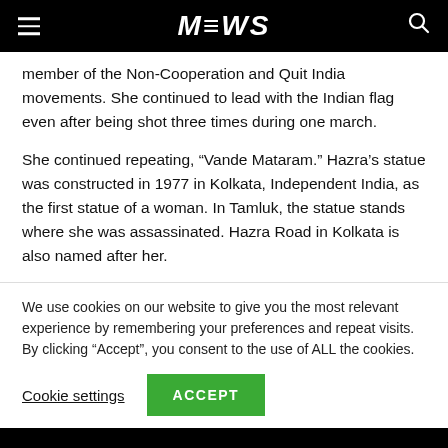MEWS
member of the Non-Cooperation and Quit India movements. She continued to lead with the Indian flag even after being shot three times during one march.
She continued repeating, “Vande Mataram.” Hazra’s statue was constructed in 1977 in Kolkata, Independent India, as the first statue of a woman. In Tamluk, the statue stands where she was assassinated. Hazra Road in Kolkata is also named after her.
We use cookies on our website to give you the most relevant experience by remembering your preferences and repeat visits. By clicking “Accept”, you consent to the use of ALL the cookies.
Cookie settings
ACCEPT